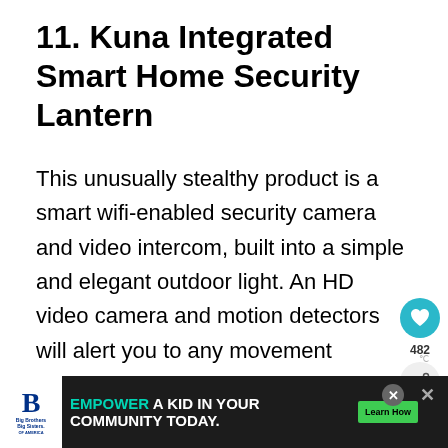11. Kuna Integrated Smart Home Security Lantern
This unusually stealthy product is a smart wifi-enabled security camera and video intercom, built into a simple and elegant outdoor light. An HD video camera and motion detectors will alert you to any movement outside of your home with push notifications on your smartphone. Even better, you can communicate with anyone at your door via two-way intercom. This is all about peace of mind, and preventing break-ins so that you do
[Figure (other): Social sharing overlay with heart/like button showing 482 count and share button]
[Figure (other): Advertisement banner: Big Brothers Big Sisters logo, text 'EMPOWER A KID IN YOUR COMMUNITY TODAY.' with 'Learn How' CTA button, and close buttons]